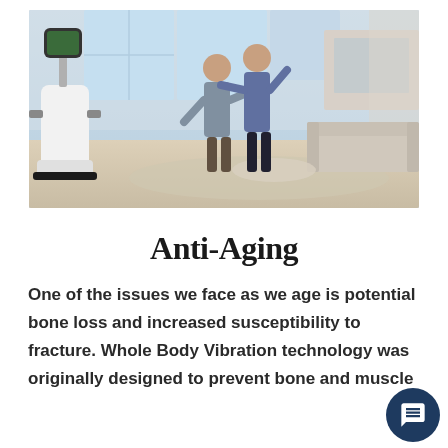[Figure (photo): Elderly couple dancing in a bright, elegant living room. A white telepresence robot with a screen is visible on the left side of the room. The room features large windows, a sofa, coffee table, and decorative shelving.]
Anti-Aging
One of the issues we face as we age is potential bone loss and increased susceptibility to fracture. Whole Body Vibration technology was originally designed to prevent bone and muscle